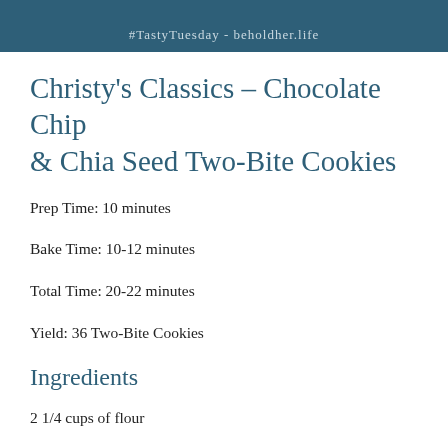#TastyTuesday - beholdher.life
Christy's Classics – Chocolate Chip & Chia Seed Two-Bite Cookies
Prep Time: 10 minutes
Bake Time: 10-12 minutes
Total Time: 20-22 minutes
Yield: 36 Two-Bite Cookies
Ingredients
2 1/4 cups of flour